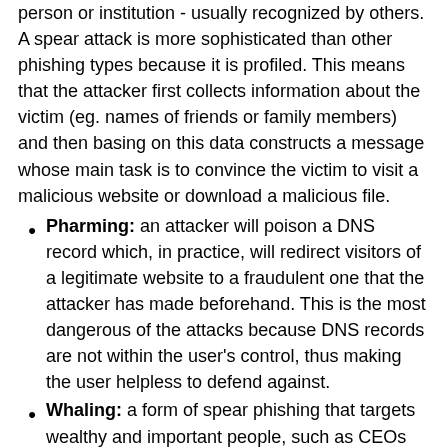person or institution - usually recognized by others. A spear attack is more sophisticated than other phishing types because it is profiled. This means that the attacker first collects information about the victim (eg. names of friends or family members) and then basing on this data constructs a message whose main task is to convince the victim to visit a malicious website or download a malicious file.
Pharming: an attacker will poison a DNS record which, in practice, will redirect visitors of a legitimate website to a fraudulent one that the attacker has made beforehand. This is the most dangerous of the attacks because DNS records are not within the user's control, thus making the user helpless to defend against.
Whaling: a form of spear phishing that targets wealthy and important people, such as CEOs and government officials.
Email Spoofing: Phishing emails typically spoof communications from legitimate companies or people.